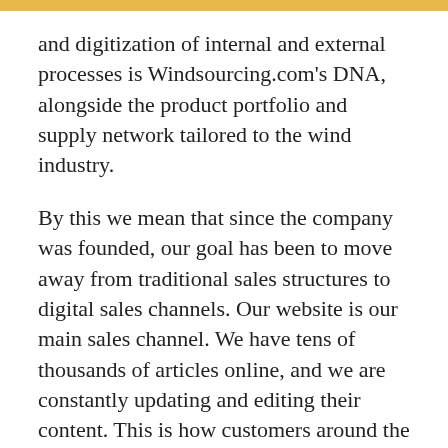and digitization of internal and external processes is Windsourcing.com's DNA, alongside the product portfolio and supply network tailored to the wind industry.
By this we mean that since the company was founded, our goal has been to move away from traditional sales structures to digital sales channels. Our website is our main sales channel. We have tens of thousands of articles online, and we are constantly updating and editing their content. This is how customers around the world find us when they are looking for specific spare parts or repair materials for their wind turbines.
The digitization of internal processes such as quoting, order processing and transmission of shipping information to our warehouse is another important aspect that makes our company and our